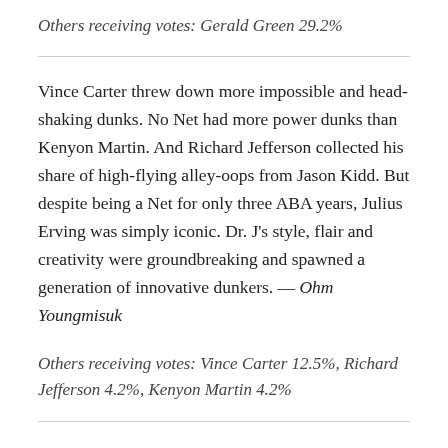Others receiving votes: Gerald Green 29.2%
Vince Carter threw down more impossible and head-shaking dunks. No Net had more power dunks than Kenyon Martin. And Richard Jefferson collected his share of high-flying alley-oops from Jason Kidd. But despite being a Net for only three ABA years, Julius Erving was simply iconic. Dr. J's style, flair and creativity were groundbreaking and spawned a generation of innovative dunkers. — Ohm Youngmisuk
Others receiving votes: Vince Carter 12.5%, Richard Jefferson 4.2%, Kenyon Martin 4.2%
Johnson was the man when it came to throwing down ferocious dunks early in his career. Before his back injury